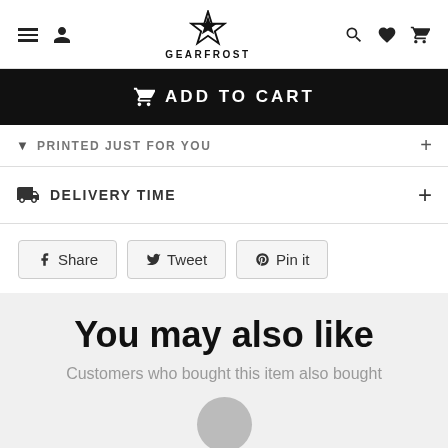GEARFROST
ADD TO CART
PRINTED JUST FOR YOU
DELIVERY TIME
Share  Tweet  Pin it
You may also like
Customers who bought this item also bought